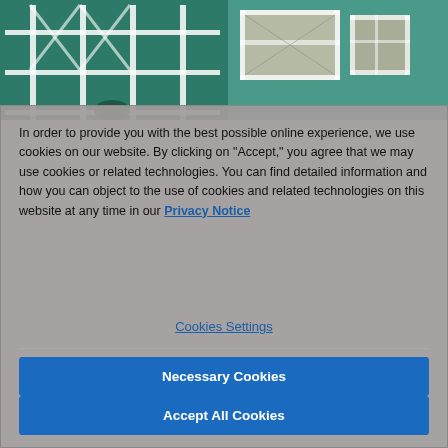[Figure (photo): Aerial/overhead photo of buildings with scaffolding or structural frames, teal/green background, split into two panels]
In order to provide you with the best possible online experience, we use cookies on our website. By clicking on "Accept," you agree that we may use cookies or related technologies. You can find detailed information and how you can object to the use of cookies and related technologies on this website at any time in our Privacy Notice
Cookies Settings
Necessary Cookies
Accept All Cookies